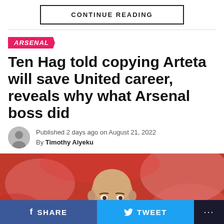CONTINUE READING
ARSENAL
Ten Hag told copying Arteta will save United career, reveals why what Arsenal boss did
Published 2 days ago on August 21, 2022
By Timothy Aiyeku
[Figure (photo): Close-up photo of a bald man (Erik ten Hag) with a blurred red/pink crowd background]
SHARE  TWEET  ...